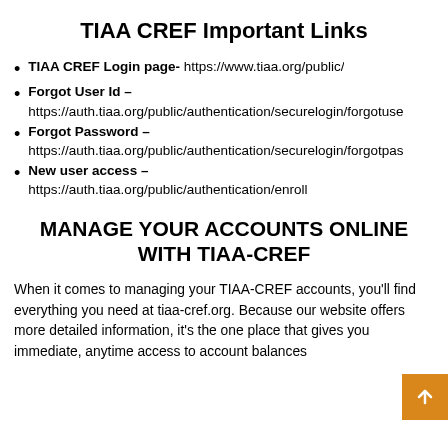TIAA CREF Important Links
TIAA CREF Login page- https://www.tiaa.org/public/
Forgot User Id – https://auth.tiaa.org/public/authentication/securelogin/forgotuse
Forgot Password – https://auth.tiaa.org/public/authentication/securelogin/forgotpas
New user access – https://auth.tiaa.org/public/authentication/enroll
MANAGE YOUR ACCOUNTS ONLINE WITH TIAA-CREF
When it comes to managing your TIAA-CREF accounts, you'll find everything you need at tiaa-cref.org. Because our website offers more detailed information, it's the one place that gives you immediate, anytime access to account balances